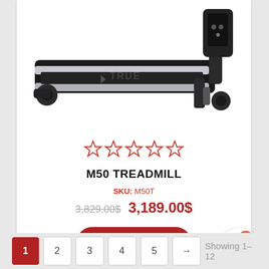[Figure (photo): TRUE brand treadmill (model M50) shown from side angle on white background]
☆☆☆☆☆ (5 empty stars rating)
M50 TREADMILL
SKU: M50T
3,829.00$ 3,189.00$
Add to cart
0 (cart count)
Showing 1–12
1
2
3
4
5
→